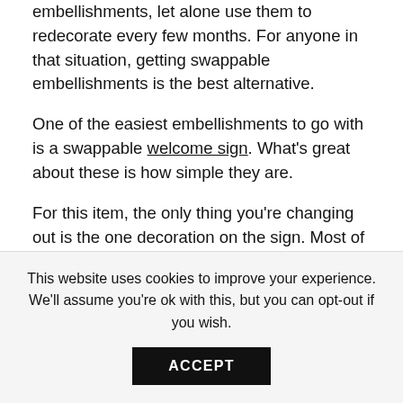embellishments, let alone use them to redecorate every few months. For anyone in that situation, getting swappable embellishments is the best alternative.
One of the easiest embellishments to go with is a swappable welcome sign. What’s great about these is how simple they are.
For this item, the only thing you’re changing out is the one decoration on the sign. Most of these come with at least four different decorations to swap, although some sets come with nearly ten. This means you’ll always have an option that’s appropriate for the season or holiday
This website uses cookies to improve your experience. We'll assume you're ok with this, but you can opt-out if you wish.
ACCEPT